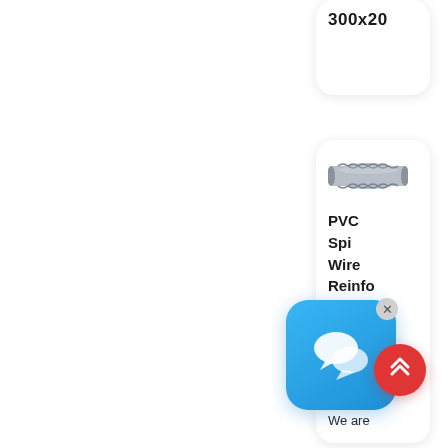300x20
[Figure (photo): PVC spiral wire reinforced suction hose pipe, cylindrical, silver-grey, showing helical wire coil structure]
PVC Spiral Wire Reinforced Suction Hose Pipe With UV
We are
[Figure (illustration): Chat / messaging app icon overlay: blue rounded square with two white speech bubble icons]
[Figure (illustration): Red circular scroll-to-top button with white double chevron up arrow]